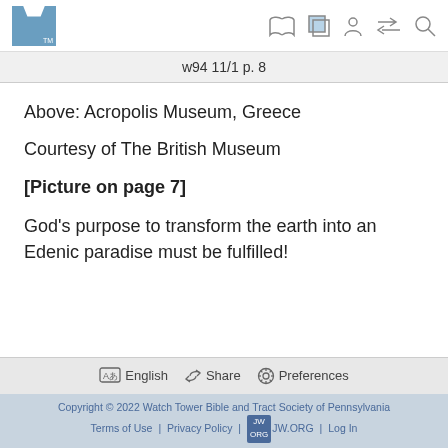w94 11/1 p. 8
Above: Acropolis Museum, Greece
Courtesy of The British Museum
[Picture on page 7]
God's purpose to transform the earth into an Edenic paradise must be fulfilled!
English  Share  Preferences
Copyright © 2022 Watch Tower Bible and Tract Society of Pennsylvania
Terms of Use  |  Privacy Policy  |  JW.ORG  |  Log In